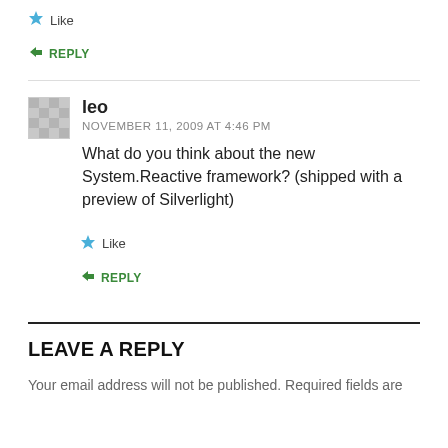★ Like
↳ REPLY
leo
NOVEMBER 11, 2009 AT 4:46 PM
What do you think about the new System.Reactive framework? (shipped with a preview of Silverlight)
★ Like
↳ REPLY
LEAVE A REPLY
Your email address will not be published. Required fields are